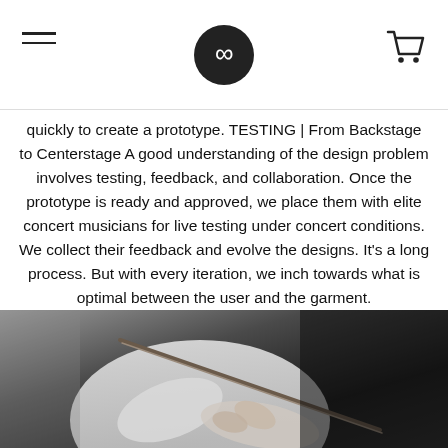[Navigation header with hamburger menu, infinity logo, and cart icon]
quickly to create a prototype. TESTING | From Backstage to Centerstage A good understanding of the design problem involves testing, feedback, and collaboration. Once the prototype is ready and approved, we place them with elite concert musicians for live testing under concert conditions. We collect their feedback and evolve the designs. It's a long process. But with every iteration, we inch towards what is optimal between the user and the garment.
[Figure (photo): Close-up photo of a musician's hands holding a bow, wearing a white formal shirt, dark background suggesting a concert setting.]